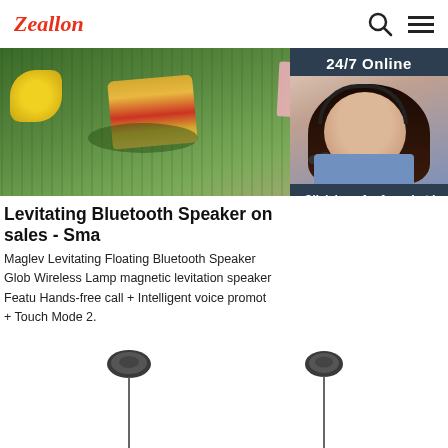Zeallon
[Figure (photo): Hero image showing food items (sandwich, lemon, pink note) on green background with 24/7 Online chat widget overlay featuring a woman with headset]
Levitating Bluetooth Speaker on sales - Sma
Maglev Levitating Floating Bluetooth Speaker Glob Wireless Lamp magnetic levitation speaker Featu Hands-free call + Intelligent voice promot + Touch Mode 2.
Get Price
[Figure (photo): Two dark gray in-ear earphones/earbuds with cables shown at bottom of page]